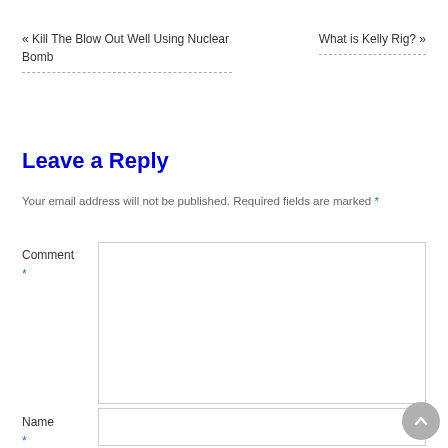« Kill The Blow Out Well Using Nuclear Bomb
What is Kelly Rig? »
Leave a Reply
Your email address will not be published. Required fields are marked *
Comment *
Name *